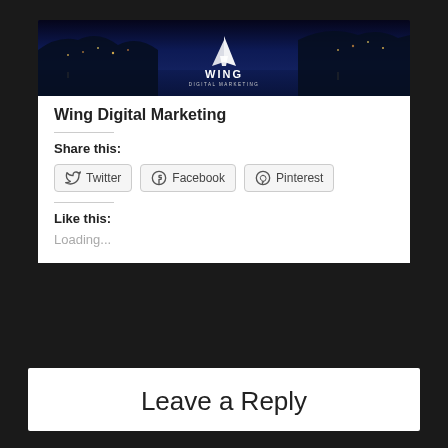[Figure (logo): Wing Digital Marketing banner with night cityscape of Rio de Janeiro and white wing/boat logo in center]
Wing Digital Marketing
Share this:
Twitter  Facebook  Pinterest
Like this:
Loading...
Leave a Reply